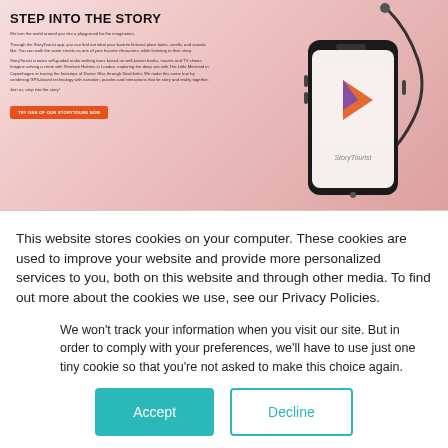[Figure (screenshot): StoryTourist website hero section with phone showing StoryTourist app logo, headline 'STEP INTO THE STORY', descriptive text, and orange CTA button on a pink/red tiled background]
STEP INTO THE STORY
We turn the world around you into a playground for the imagination.
Through the StoryTourist app, you can find out what your favorite fictional place looks, smells, and sounds like. You can walk the same streets as one of your favorite characters, while listening to their story.
StoryTourist creates self-guided audio walking tours based on well-known books, movies and TV shows. Imagine solving a crime with Sherlock Holmes in London, exploring the deep sea with The Little Mermaid in Copenhagen or tracing the footsteps of Doctor Glas through Stockholm. We make this come true by combining GPS-based technology with narration, puzzles and interactions that tie story and reality together.
Join us, step into the story!
TRY ONE OF OUR STORYTOURS NOW
This website stores cookies on your computer. These cookies are used to improve your website and provide more personalized services to you, both on this website and through other media. To find out more about the cookies we use, see our Privacy Policies.
We won't track your information when you visit our site. But in order to comply with your preferences, we'll have to use just one tiny cookie so that you're not asked to make this choice again.
Accept
Decline